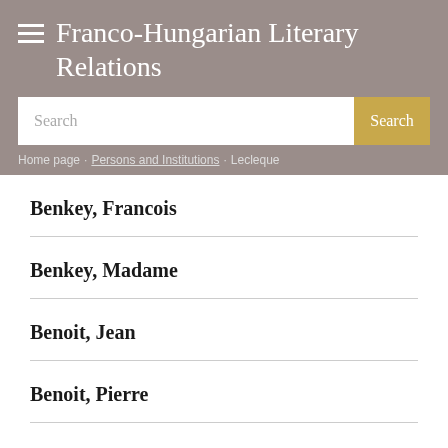Franco-Hungarian Literary Relations
Search
Home page · Persons and Institutions · Lecleque
Benkey, Francois
Benkey, Madame
Benoit, Jean
Benoit, Pierre